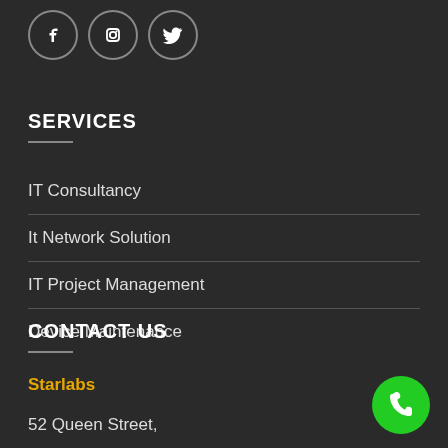[Figure (other): Three social media icon circles: Facebook, Instagram, Twitter]
SERVICES
IT Consultancy
It Network Solution
IT Project Management
Device Maintenance
CONTACT US
Starlabs
52 Queen Street,